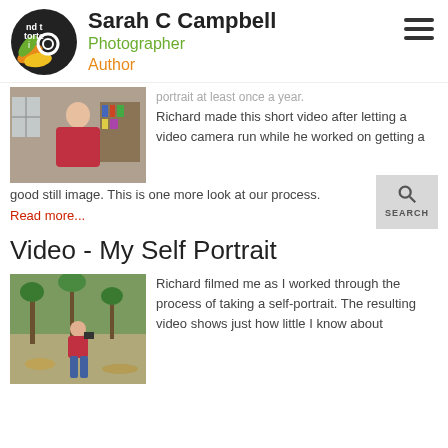Sarah C Campbell | Photographer | Author
[Figure (photo): Woman in red sweater sitting in a chair indoors]
portrait at least once a year. Richard made this short video after letting a video camera run while he worked on getting a good still image. This is one more look at our process.
Read more...
Video - My Self Portrait
[Figure (photo): Person in red jacket crouching outdoors in wooded area with camera]
Richard filmed me as I worked through the process of taking a self-portrait. The resulting video shows just how little I know about